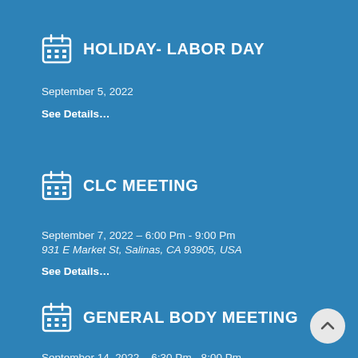HOLIDAY- LABOR DAY
September 5, 2022
See Details…
CLC MEETING
September 7, 2022 – 6:00 Pm - 9:00 Pm
931 E Market St, Salinas, CA 93905, USA
See Details…
GENERAL BODY MEETING
September 14, 2022 – 6:30 Pm - 8:00 Pm
10300 Merritt Street, Castroville, CA